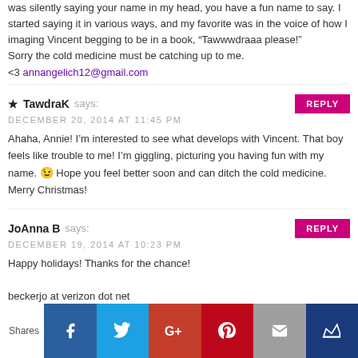was silently saying your name in my head, you have a fun name to say. I started saying it in various ways, and my favorite was in the voice of how I imaging Vincent begging to be in a book, “Tawwwdraaa please!” Sorry the cold medicine must be catching up to me.
<3 annangelich12@gmail.com
★ TawdraK says:
DECEMBER 20, 2014 AT 11:45 PM
Ahaha, Annie! I’m interested to see what develops with Vincent. That boy feels like trouble to me! I’m giggling, picturing you having fun with my name. 😉 Hope you feel better soon and can ditch the cold medicine. Merry Christmas!
JoAnna B says:
DECEMBER 19, 2014 AT 10:23 PM
Happy holidays! Thanks for the chance!

beckerjo at verizon dot net
[Figure (infographic): Social share bar with icons for Facebook, Twitter, Google+, Pinterest, Email, and Crown/Bloglovin. Label 'Shares' on left.]